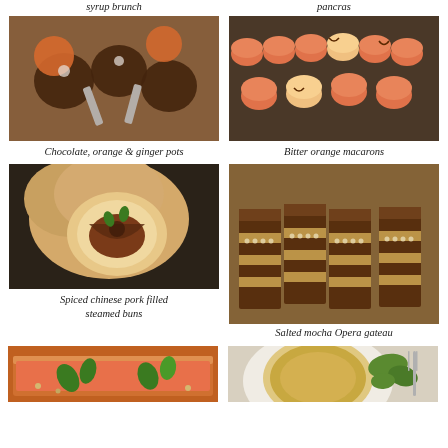syrup brunch
pancras
[Figure (photo): Chocolate orange ginger pots from above on a wooden board with spoons and orange slices]
Chocolate, orange & ginger pots
[Figure (photo): Rows of bitter orange macarons on a dark tray]
Bitter orange macarons
[Figure (photo): Spiced chinese pork filled steamed bun cut open showing filling]
Spiced chinese pork filled steamed buns
[Figure (photo): Salted mocha Opera gateau slices in a row showing layers]
Salted mocha Opera gateau
[Figure (photo): Rectangular salmon tart with basil leaves]
[Figure (photo): Round quiche with salad greens on a plate]